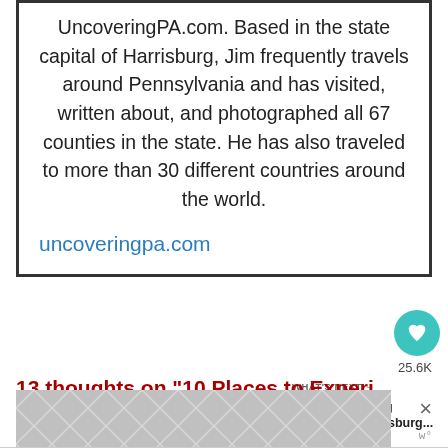UncoveringPA.com. Based in the state capital of Harrisburg, Jim frequently travels around Pennsylvania and has visited, written about, and photographed all 67 counties in the state. He has also traveled to more than 30 different countries around the world.
uncoveringpa.com
13 thoughts on “10 Places to Experience the Legacy of George Washington in Pennsylvania”
[Figure (other): Advertisement banner with diamond/chevron grey pattern and close button]